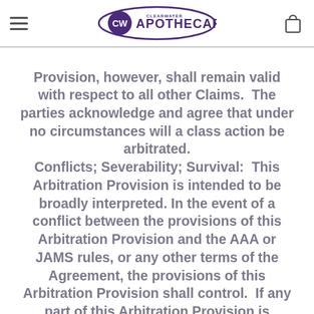Clearwater Apothecary
Provision, however, shall remain valid with respect to all other Claims.  The parties acknowledge and agree that under no circumstances will a class action be arbitrated. Conflicts; Severability; Survival:  This Arbitration Provision is intended to be broadly interpreted. In the event of a conflict between the provisions of this Arbitration Provision and the AAA or JAMS rules, or any other terms of the Agreement, the provisions of this Arbitration Provision shall control.  If any part of this Arbitration Provision is deemed or found to be unenforceable for any reason, the remainder shall be